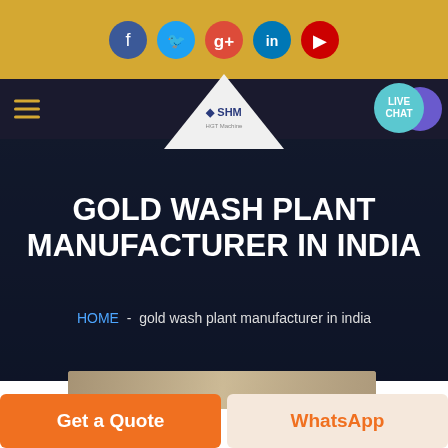[Figure (screenshot): Golden social media bar with circular icons for Facebook, Twitter, Google+, LinkedIn, YouTube]
[Figure (screenshot): Navigation bar with hamburger menu, SHM logo in white triangle, and Live Chat bubble]
GOLD WASH PLANT MANUFACTURER IN INDIA
HOME  -  gold wash plant manufacturer in india
[Figure (photo): Partial view of engineering/industrial image at bottom of hero section]
Get a Quote
WhatsApp